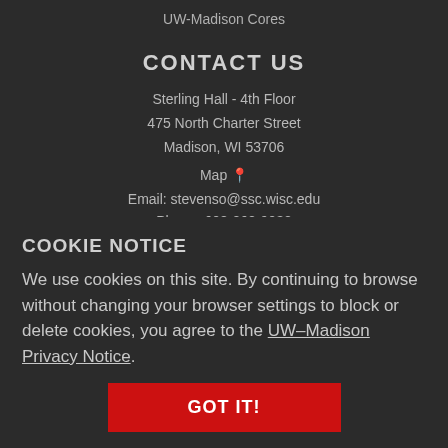UW-Madison Cores
CONTACT US
Sterling Hall - 4th Floor
475 North Charter Street
Madison, WI 53706
Map 📍
Email: stevenso@ssc.wisc.edu
Phone: 608-262-9032
[Figure (other): Four social media icons: Facebook, Twitter, LinkedIn, Instagram]
COOKIE NOTICE
We use cookies on this site. By continuing to browse without changing your browser settings to block or delete cookies, you agree to the UW–Madison Privacy Notice.
GOT IT!